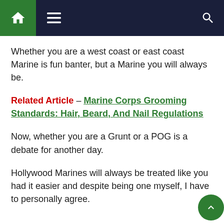Navigation bar with home, menu, and search icons
Whether you are a west coast or east coast Marine is fun banter, but a Marine you will always be.
Related Article – Marine Corps Grooming Standards: Hair, Beard, And Nail Regulations
Now, whether you are a Grunt or a POG is a debate for another day.
Hollywood Marines will always be treated like you had it easier and despite being one myself, I have to personally agree.